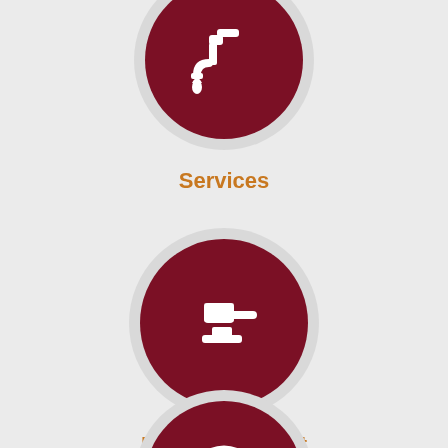[Figure (illustration): Dark red circle icon with white water faucet/tap icon with a water drop, on a light gray circular background]
Services
[Figure (illustration): Dark red circle icon with white judge's gavel/mallet icon, on a light gray circular background]
Municipal Court
[Figure (illustration): Dark red circle icon partially visible at bottom, with a white globe/earth icon]